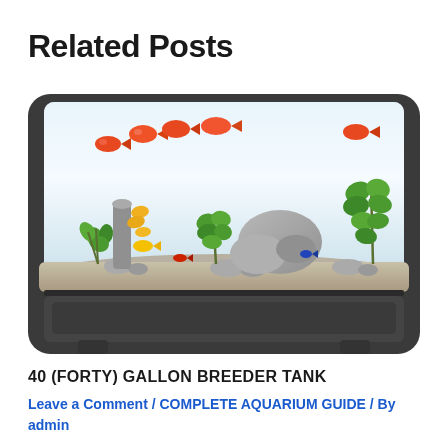Related Posts
[Figure (illustration): Illustration of a fish tank / aquarium with orange goldfish swimming near the top, aquatic plants, grey rocks, and gravel substrate. The tank is in a dark grey plastic frame with a base/cabinet below.]
40 (FORTY) GALLON BREEDER TANK
Leave a Comment / COMPLETE AQUARIUM GUIDE / By admin